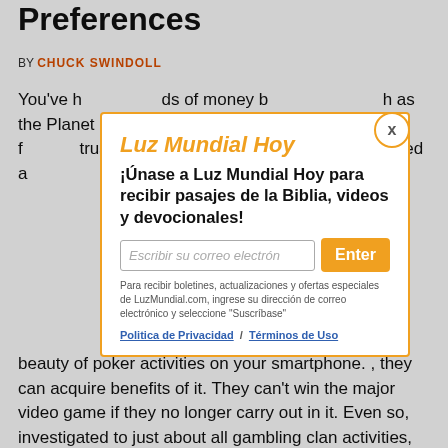Preferences
BY CHUCK SWINDOLL
You've h... ds of money b... h as the Planet S... ive post att... G tested f... trustwor... service provider... is both owned a... natural beauty of poker activities on your smartphone. , they can acquire benefits of it. They can't win the major video game if they no longer carry out in it. Even so, investigated to just about all gambling clan activities this
[Figure (screenshot): Modal popup for Luz Mundial Hoy newsletter signup with orange border, title 'Luz Mundial Hoy', subtitle '¡Únase a Luz Mundial Hoy para recibir pasajes de la Biblia, videos y devocionales!', email input field, orange Enter button, fine print about LuzMundial.com, and links to Politica de Privacidad and Términos de Uso. Close button (X) in orange circle at top right.]